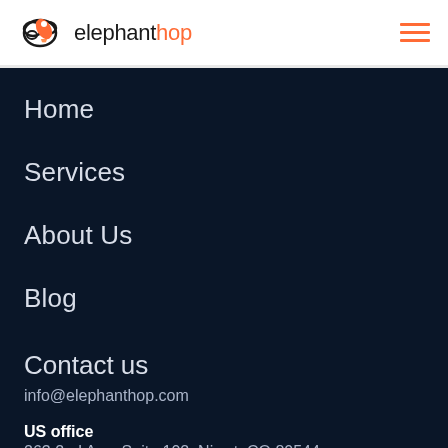elephant hop
Home
Services
About Us
Blog
Contact us
info@elephanthop.com
US office
263 2nd Ave, Suite 102, Niwot, CO 80544
UK office